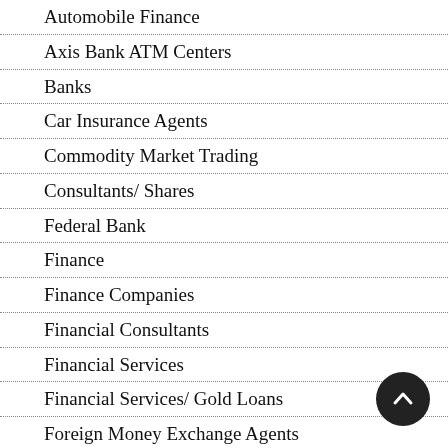Automobile Finance
Axis Bank ATM Centers
Banks
Car Insurance Agents
Commodity Market Trading
Consultants/ Shares
Federal Bank
Finance
Finance Companies
Financial Consultants
Financial Services
Financial Services/ Gold Loans
Foreign Money Exchange Agents
General Insurance Companies
GST Consultants
Home Loans
IDBI Bank